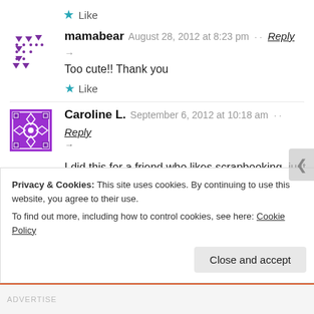★ Like
mamabear  August 28, 2012 at 8:23 pm  Reply →
Too cute!! Thank you
★ Like
Caroline L.  September 6, 2012 at 10:18 am  Reply
→
I did this for a friend who likes scrapbooking, just went to
target and bought TONS of scrapbooking things (stickers
Privacy & Cookies: This site uses cookies. By continuing to use this website, you agree to their use.
To find out more, including how to control cookies, see here: Cookie Policy
Close and accept